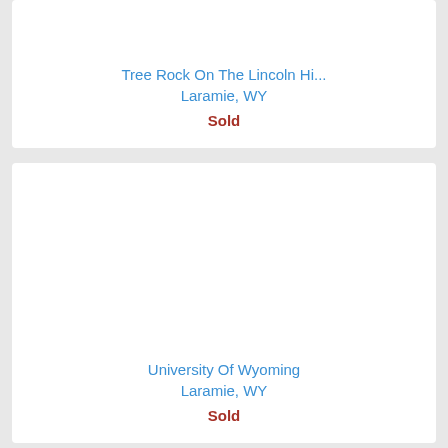Tree Rock On The Lincoln Hi...
Laramie, WY
Sold
University Of Wyoming
Laramie, WY
Sold